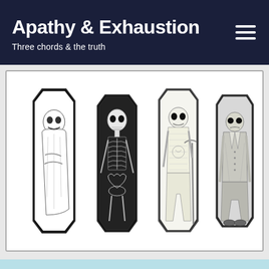Apathy & Exhaustion
Three chords & the truth
[Figure (illustration): Four coffins with skeletal/horror figures inside, rendered in black and white ink illustration style. From left to right: a ghost-like skeleton figure wrapped in white cloth, a bare skeleton with visible ribcage and heart, a skeleton in patterned pajamas holding a cane, and a skeleton in a suit/formal wear.]